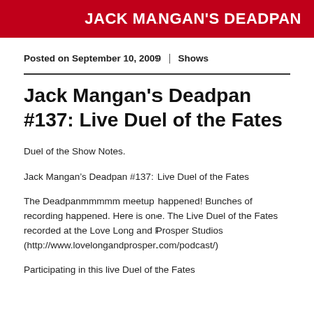JACK MANGAN'S DEADPAN
Posted on September 10, 2009 | Shows
Jack Mangan's Deadpan #137: Live Duel of the Fates
Duel of the Show Notes.
Jack Mangan’s Deadpan #137: Live Duel of the Fates
The Deadpanmmmmm meetup happened! Bunches of recording happened. Here is one. The Live Duel of the Fates recorded at the Love Long and Prosper Studios (http://www.lovelongandprosper.com/podcast/)
Participating in this live Duel of the Fates